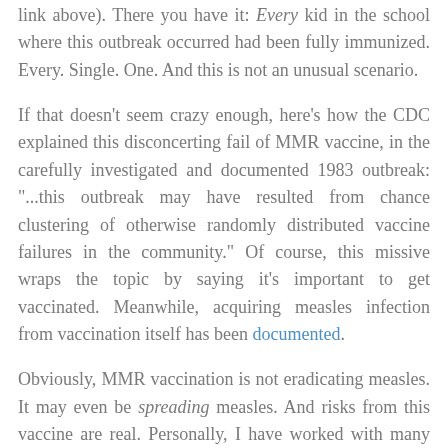link above). There you have it: Every kid in the school where this outbreak occurred had been fully immunized. Every. Single. One. And this is not an unusual scenario.
If that doesn't seem crazy enough, here's how the CDC explained this disconcerting fail of MMR vaccine, in the carefully investigated and documented 1983 outbreak: "...this outbreak may have resulted from chance clustering of otherwise randomly distributed vaccine failures in the community." Of course, this missive wraps the topic by saying it's important to get vaccinated. Meanwhile, acquiring measles infection from vaccination itself has been documented.
Obviously, MMR vaccination is not eradicating measles. It may even be spreading measles. And risks from this vaccine are real. Personally, I have worked with many families who are certain that the descent into autism that their children experienced was due to